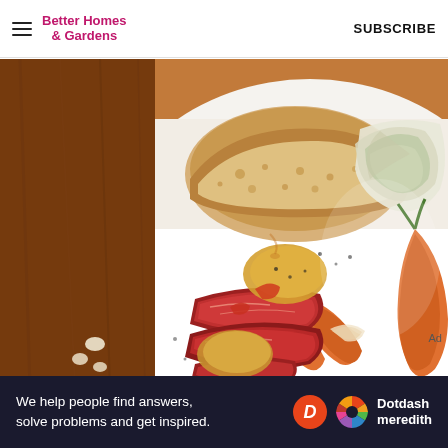Better Homes & Gardens   SUBSCRIBE
[Figure (photo): Close-up food photo of sliced corned beef with roasted carrots, cabbage, potatoes and other vegetables on a white plate, with a slice of bread visible. Wooden surface visible on left edge.]
Ad
We help people find answers, solve problems and get inspired.   Dotdash meredith